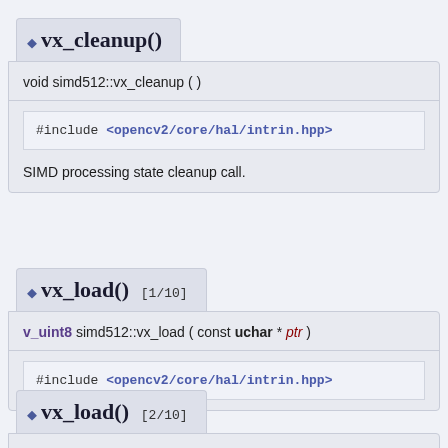vx_cleanup()
void simd512::vx_cleanup ( )
#include <opencv2/core/hal/intrin.hpp>
SIMD processing state cleanup call.
vx_load() [1/10]
v_uint8 simd512::vx_load ( const uchar * ptr )
#include <opencv2/core/hal/intrin.hpp>
vx_load() [2/10]